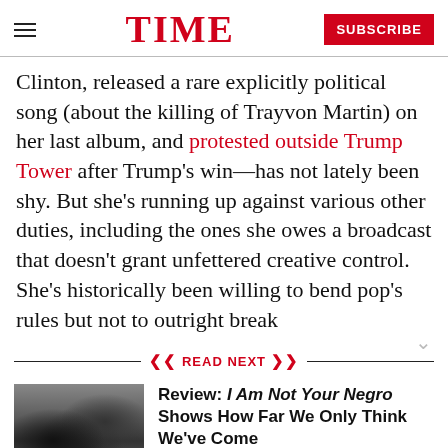TIME  SUBSCRIBE
Clinton, released a rare explicitly political song (about the killing of Trayvon Martin) on her last album, and protested outside Trump Tower after Trump's win—has not lately been shy. But she's running up against various other duties, including the ones she owes a broadcast that doesn't grant unfettered creative control. She's historically been willing to bend pop's rules but not to outright break them.
READ NEXT
Review: I Am Not Your Negro Shows How Far We Only Think We've Come